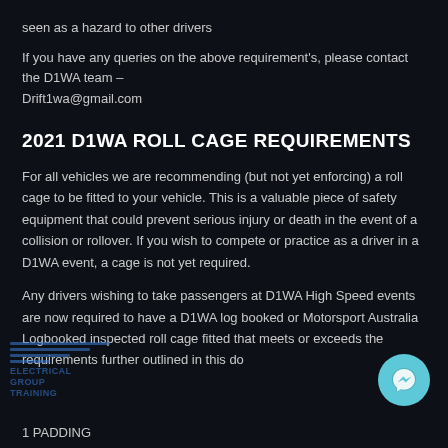seen as a hazard to other drivers
If you have any queries on the above requirement's, please contact the D1WA team – Drift1wa@gmail.com
2021 D1WA ROLL CAGE REQUIREMENTS
For all vehicles we are recommending (but not yet enforcing) a roll cage to be fitted to your vehicle. This is a valuable piece of safety equipment that could prevent serious injury or death in the event of a collision or rollover. If you wish to compete or practice as a driver in a D1WA event, a cage is not yet required.
Any drivers wishing to take passengers at D1WA High Speed events are now required to have a D1WA log booked or Motorsport Australia Logbooked inspected roll cage fitted that meets or exceeds the requirements further outlined in this do…
1 PADDING